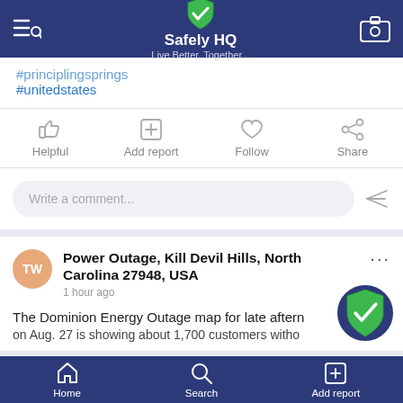Safely HQ — Live Better, Together...
#unitedstates
Helpful | Add report | Follow | Share
Write a comment...
Power Outage, Kill Devil Hills, North Carolina 27948, USA
1 hour ago
The Dominion Energy Outage map for late aftern... on Aug. 27 is showing about 1,700 customers witho...
Home | Search | Add report